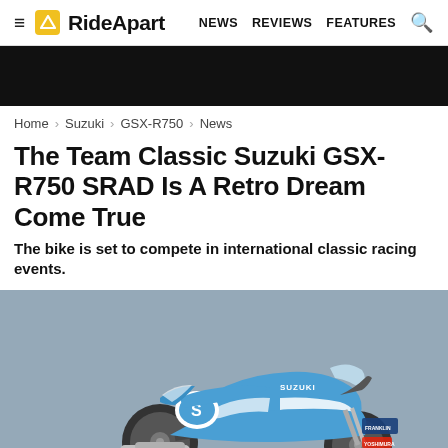RideApart — NEWS  REVIEWS  FEATURES
Home > Suzuki > GSX-R750 > News
The Team Classic Suzuki GSX-R750 SRAD Is A Retro Dream Come True
The bike is set to compete in international classic racing events.
[Figure (photo): A blue and white Team Classic Suzuki GSX-R750 SRAD racing motorcycle on a grey background, showing the full bike in profile with classic retro livery featuring Suzuki branding and sponsor logos.]